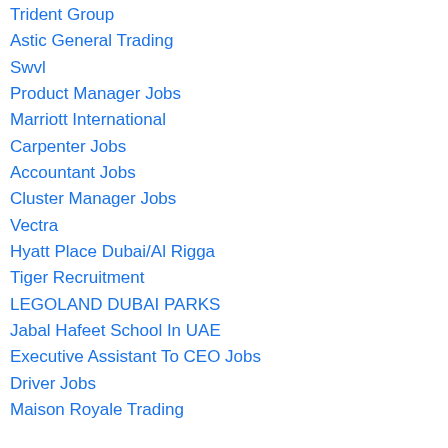Trident Group
Astic General Trading
Swvl
Product Manager Jobs
Marriott International
Carpenter Jobs
Accountant Jobs
Cluster Manager Jobs
Vectra
Hyatt Place Dubai/Al Rigga
Tiger Recruitment
LEGOLAND DUBAI PARKS
Jabal Hafeet School In UAE
Executive Assistant To CEO Jobs
Driver Jobs
Maison Royale Trading